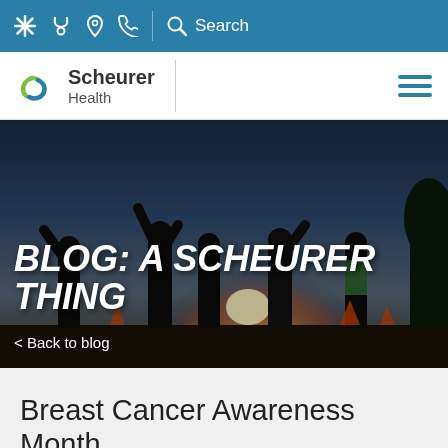* stethoscope location-pin phone Search
[Figure (logo): Scheurer Health logo with stylized S icon in blue and green]
[Figure (photo): Silhouettes of people with arms raised against a sunset background. Overlay text: BLOG: A SCHEURER THING. Navigation link: < Back to blog]
Breast Cancer Awareness Month